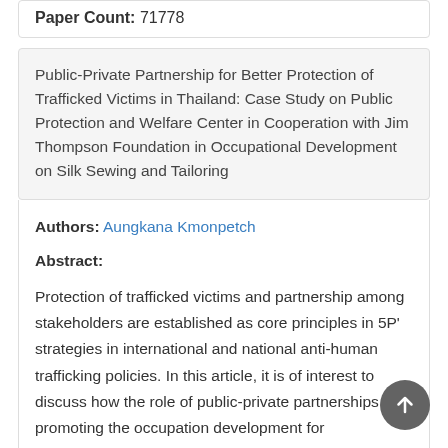Paper Count: 71778
Public-Private Partnership for Better Protection of Trafficked Victims in Thailand: Case Study on Public Protection and Welfare Center in Cooperation with Jim Thompson Foundation in Occupational Development on Silk Sewing and Tailoring
Authors: Aungkana Kmonpetch
Abstract:
Protection of trafficked victims and partnership among stakeholders are established as core principles in 5P' strategies in international and national anti-human trafficking policies. In this article, it is of interest to discuss how the role of public-private partnerships in promoting the occupation development for employment in wage will enhance the better